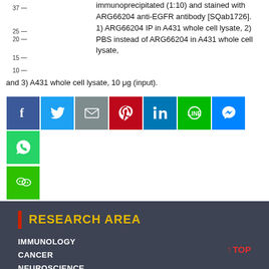[Figure (other): Partial western blot gel image showing molecular weight markers at 37, 25, 20, 15, and 10 kDa on the left side]
immunoprecipitated (1:10) and stained with ARG66204 anti-EGFR antibody [SQab1726]. 1) ARG66204 IP in A431 whole cell lysate, 2) PBS instead of ARG66204 in A431 whole cell lysate, and 3) A431 whole cell lysate, 10 μg (input).
[Figure (infographic): Social media sharing buttons: Facebook, Twitter, Email, Pinterest, LinkedIn, LINE, Messenger, WhatsApp, WeChat]
RESEARCH AREA
IMMUNOLOGY
CANCER
NEUROSCIENCE
METABOLISM
SIGNALING